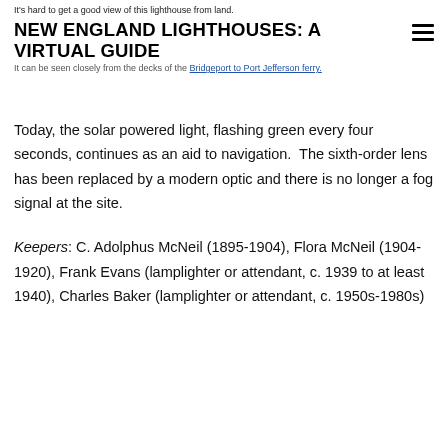It's hard to get a good view of this lighthouse from land. NEW ENGLAND LIGHTHOUSES: A VIRTUAL GUIDE It can be seen closely from the decks of the Bridgeport to Port Jefferson ferry.
Today, the solar powered light, flashing green every four seconds, continues as an aid to navigation. The sixth-order lens has been replaced by a modern optic and there is no longer a fog signal at the site.
Keepers: C. Adolphus McNeil (1895-1904), Flora McNeil (1904-1920), Frank Evans (lamplighter or attendant, c. 1939 to at least 1940), Charles Baker (lamplighter or attendant, c. 1950s-1980s)